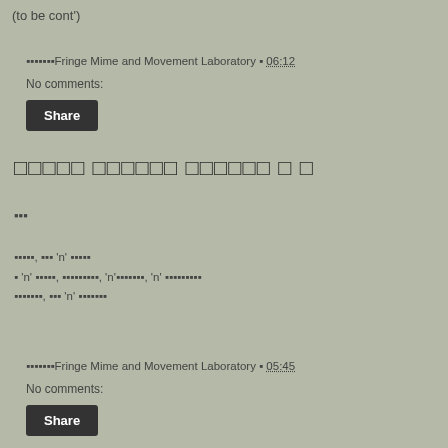(to be cont')
▪▪▪▪▪▪▪Fringe Mime and Movement Laboratory ▪ 06:12
No comments:
Share
▪▪▪▪▪ ▪▪▪▪▪▪ ▪▪▪▪▪▪ ▪ ▪
▪▪▪
▪▪▪▪▪, ▪▪▪ 'n' ▪▪▪▪▪
▪ 'n' ▪▪▪▪▪, ▪▪▪▪▪▪▪▪▪, 'n'▪▪▪▪▪▪▪, 'n' ▪▪▪▪▪▪▪▪▪
▪▪▪▪▪▪▪, ▪▪▪ 'n' ▪▪▪▪▪▪▪
▪▪▪▪▪▪▪Fringe Mime and Movement Laboratory ▪ 05:45
No comments:
Share